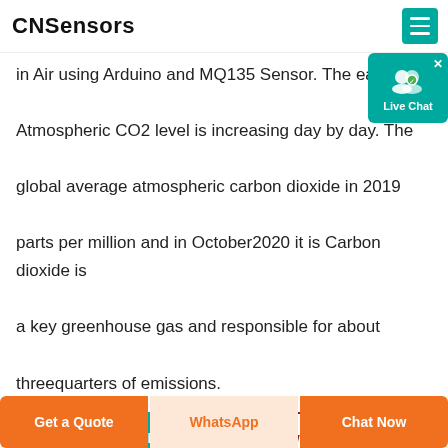CNSensors
in Air using Arduino and MQ135 Sensor. The earth s Atmospheric CO2 level is increasing day by day. The global average atmospheric carbon dioxide in 2019 parts per million and in October2020 it is Carbon dioxide is a key greenhouse gas and responsible for about threequarters of emissions.
OBTENIR LE PRIX | WHATSAPP
[Figure (screenshot): Light blue placeholder content box with scroll-up button]
Get a Quote | WhatsApp | Chat Now